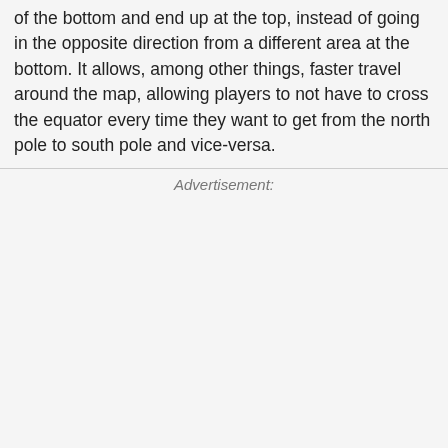of the bottom and end up at the top, instead of going in the opposite direction from a different area at the bottom. It allows, among other things, faster travel around the map, allowing players to not have to cross the equator every time they want to get from the north pole to south pole and vice-versa.
Advertisement: